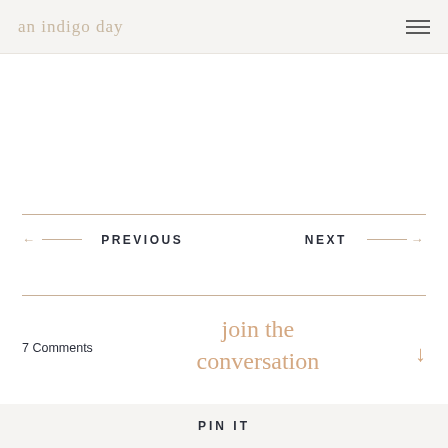an indigo day
← PREVIOUS
NEXT →
7 Comments
join the conversation
PIN IT